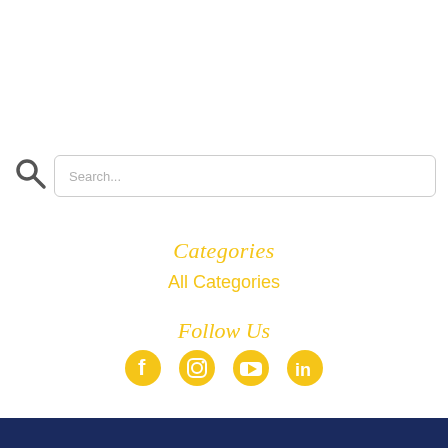Search...
Categories
All Categories
Follow Us
[Figure (infographic): Social media icons: Facebook, Instagram, YouTube, LinkedIn in yellow]